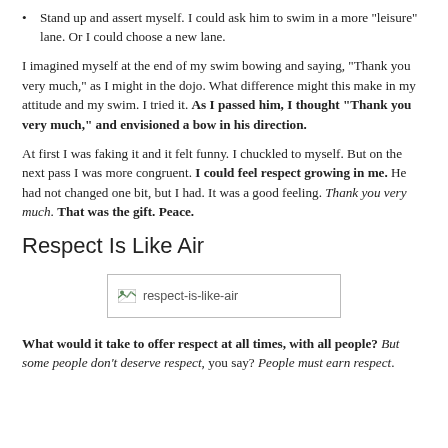Stand up and assert myself. I could ask him to swim in a more "leisure" lane. Or I could choose a new lane.
I imagined myself at the end of my swim bowing and saying, "Thank you very much," as I might in the dojo. What difference might this make in my attitude and my swim. I tried it. As I passed him, I thought "Thank you very much," and envisioned a bow in his direction.
At first I was faking it and it felt funny. I chuckled to myself. But on the next pass I was more congruent. I could feel respect growing in me. He had not changed one bit, but I had. It was a good feeling. Thank you very much. That was the gift. Peace.
Respect Is Like Air
[Figure (photo): Image placeholder showing broken image icon with alt text 'respect-is-like-air']
What would it take to offer respect at all times, with all people? But some people don't deserve respect, you say? People must earn respect.